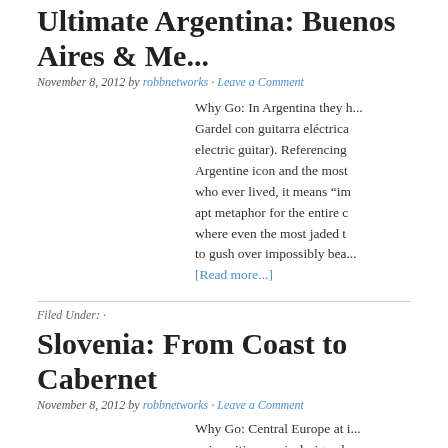Ultimate Argentina: Buenos Aires & Me...
November 8, 2012 by robbnetworks · Leave a Comment
Why Go: In Argentina they h... Gardel con guitarra eléctrica... electric guitar). Referencing Argentine icon and the most... who ever lived, it means "im... apt metaphor for the entire c... where even the most jaded t... to gush over impossibly bea...
[Read more...]
Filed Under: ·
Slovenia: From Coast to Cabernet
November 8, 2012 by robbnetworks · Leave a Comment
Why Go: Central Europe at i... unique itinerary is designed... opportunities to explore the... wine and culture of Slovenia...